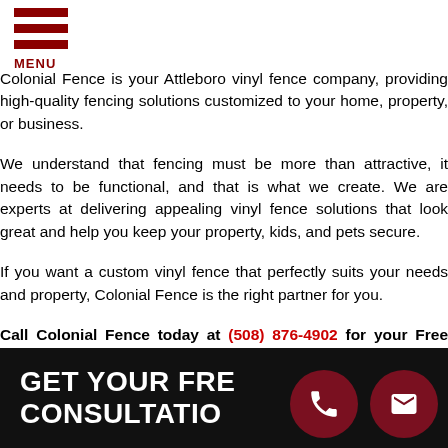[Figure (logo): Hamburger menu icon with three dark red horizontal bars and MENU text below]
Colonial Fence is your Attleboro vinyl fence company, providing high-quality fencing solutions customized to your home, property, or business.
We understand that fencing must be more than attractive, it needs to be functional, and that is what we create. We are experts at delivering appealing vinyl fence solutions that look great and help you keep your property, kids, and pets secure.
If you want a custom vinyl fence that perfectly suits your needs and property, Colonial Fence is the right partner for you.
Call Colonial Fence today at (508) 876-4902 for your Free Consultation!
[Figure (infographic): Black banner with white bold text reading GET YOUR FREE CONSULTATION, with two dark red circular icons on the right: a phone icon and an envelope/email icon]